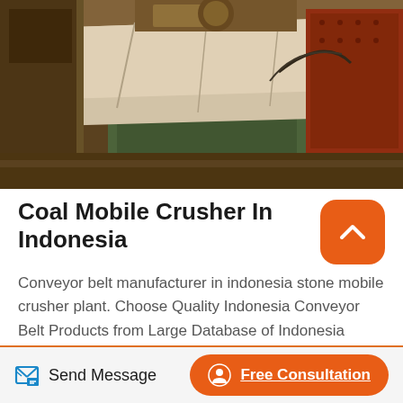[Figure (photo): Industrial machinery/coal crusher equipment on a worksite, with metal parts, green body, and white tarpaulin covering some components.]
Coal Mobile Crusher In Indonesia
Conveyor belt manufacturer in indonesia stone mobile crusher plant. Choose Quality Indonesia Conveyor Belt Products from Large Database of Indonesia Conveyor Belt coal conveyor system suppliers in Indonesia is manufactured from
Send Message   Free Consultation